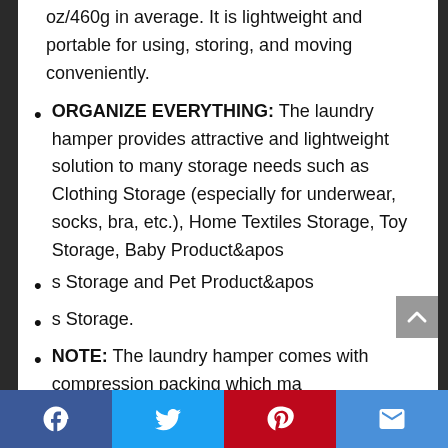oz/460g in average. It is lightweight and portable for using, storing, and moving conveniently.
ORGANIZE EVERYTHING: The laundry hamper provides attractive and lightweight solution to many storage needs such as Clothing Storage (especially for underwear, socks, bra, etc.), Home Textiles Storage, Toy Storage, Baby Product&apos
s Storage and Pet Product&apos
s Storage.
NOTE: The laundry hamper comes with compression packing which ma